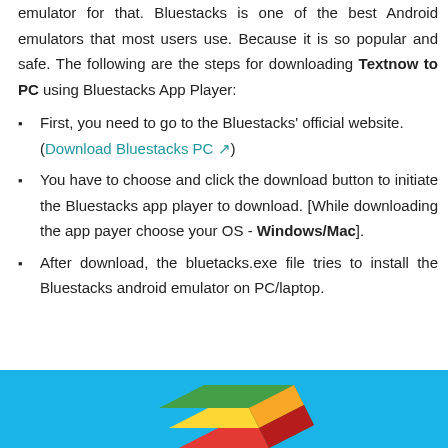emulator for that. Bluestacks is one of the best Android emulators that most users use. Because it is so popular and safe. The following are the steps for downloading Textnow to PC using Bluestacks App Player:
First, you need to go to the Bluestacks' official website. (Download Bluestacks PC ↗)
You have to choose and click the download button to initiate the Bluestacks app player to download. [While downloading the app payer choose your OS - Windows/Mac].
After download, the bluetacks.exe file tries to install the Bluestacks android emulator on PC/laptop.
[Figure (illustration): Blue background with Bluestacks logo (stacked colored squares forming a 3D block shape in green, yellow, and red) partially visible at the bottom of the page.]